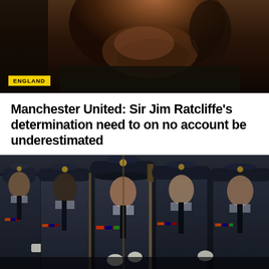[Figure (photo): Close-up photo of an older man's face from below, showing chin with grey stubble and dark jacket collar, dark background]
ENGLAND
Manchester United: Sir Jim Ratcliffe's determination need to on no account be underestimated
AUGUST 18, 2022
[Figure (photo): Military personnel in dark navy uniforms with peaked caps, medals, white gloves, and rifles, standing in formation at a ceremonial parade]